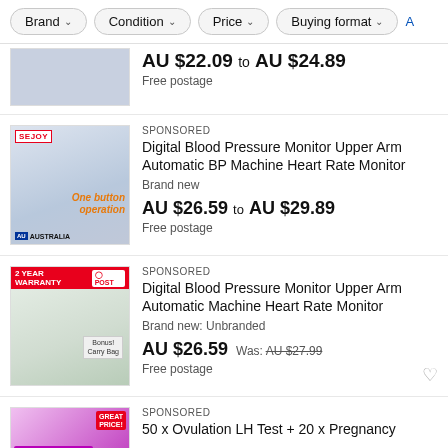Brand ∨   Condition ∨   Price ∨   Buying format ∨   A
AU $22.09 to AU $24.89
Free postage
SPONSORED
Digital Blood Pressure Monitor Upper Arm Automatic BP Machine Heart Rate Monitor
Brand new
AU $26.59 to AU $29.89
Free postage
SPONSORED
Digital Blood Pressure Monitor Upper Arm Automatic Machine Heart Rate Monitor
Brand new: Unbranded
AU $26.59   Was: AU $27.99
Free postage
SPONSORED
50 x Ovulation LH Test + 20 x Pregnancy